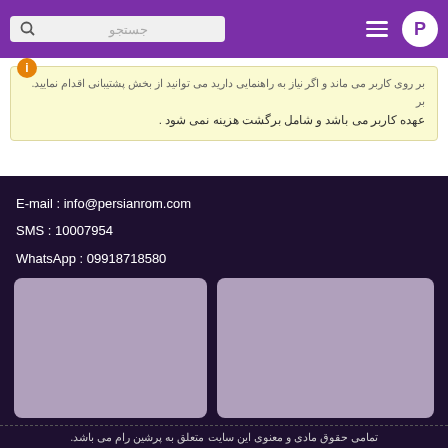جستجو | Menu | P
عهده کاربر می باشد و شامل برگشت هزینه نمی شود .
E-mail : info@persianrom.com
SMS : 10007954
WhatsApp : 09918718580
[Figure (photo): Two gray placeholder image boxes side by side]
تمامی حقوق مادی و معنوی این سایت متعلق به پرشین رام می باشد.